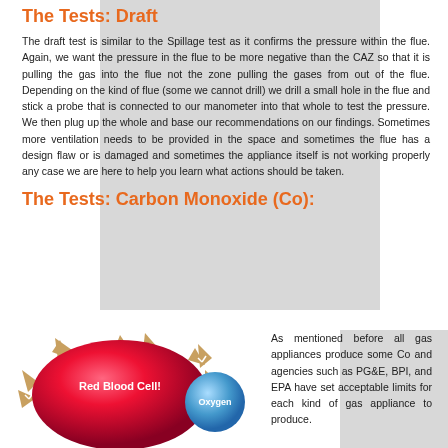The Tests: Draft
The draft test is similar to the Spillage test as it confirms the pressure within the flue. Again, we want the pressure in the flue to be more negative than the CAZ so that it is pulling the gas into the flue not the zone pulling the gases from out of the flue. Depending on the kind of flue (some we cannot drill) we drill a small hole in the flue and stick a probe that is connected to our manometer into that whole to test the pressure. We then plug up the whole and base our recommendations on our findings. Sometimes more ventilation needs to be provided in the space and sometimes the flue has a design flaw or is damaged and sometimes the appliance itself is not working properly any case we are here to help you learn what actions should be taken.
The Tests: Carbon Monoxide (Co):
[Figure (illustration): Illustration showing a red blood cell (large red sphere labeled 'Red Blood Cell') surrounded by tan star/spike shapes and a smaller blue circle labeled 'Oxygen', representing carbon monoxide interaction with blood cells]
As mentioned before all gas appliances produce some Co and agencies such as PG&E, BPI, and EPA have set acceptable limits for each kind of gas appliance to produce.